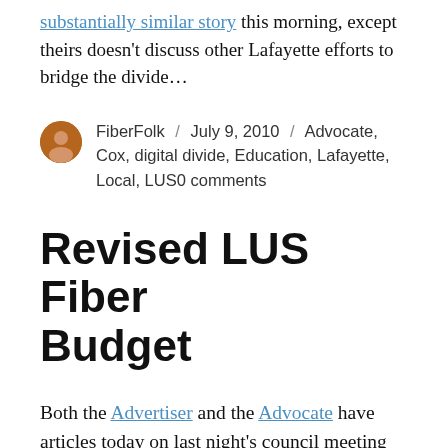substantially similar story this morning, except theirs doesn't discuss other Lafayette efforts to bridge the divide…
FiberFolk / July 9, 2010 / Advocate, Cox, digital divide, Education, Lafayette, Local, LUS0 comments
Revised LUS Fiber Budget
Both the Advertiser and the Advocate have articles today on last night's council meeting and LUS' revised budget. The big news was that LUS will not meet its own revenue projections; in fact they are off by about half, a disturbing